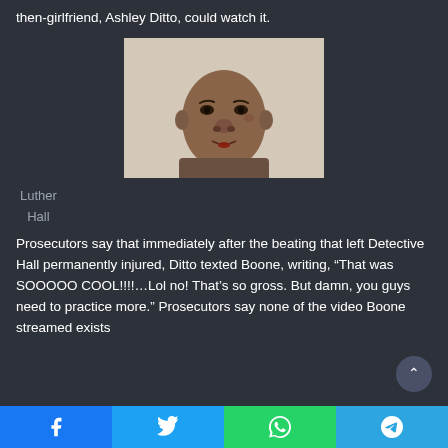then-girlfriend, Ashley Ditto, could watch it.
[Figure (photo): Mugshot or booking photo of Luther Hall, a Black man with a cut on his lower lip]
Luther Hall
Prosecutors say that immediately after the beating that left Detective Hall permanently injured, Ditto texted Boone, writing, “That was SOOOOO COOL!!!!...Lol no! That’s so gross. But damn, you guys need to practice more.” Prosecutors say none of the video Boone streamed exists